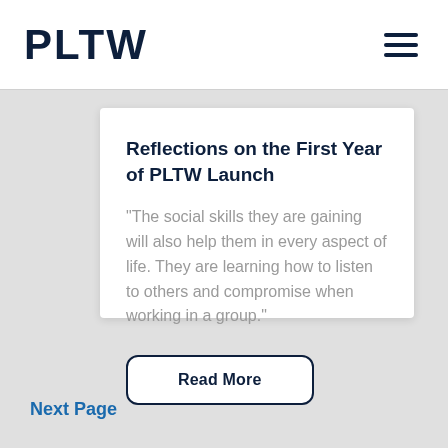PLTW
Reflections on the First Year of PLTW Launch
"The social skills they are gaining will also help them in every aspect of life. They are learning how to listen to others and compromise when working in a group."
Read More
Next Page